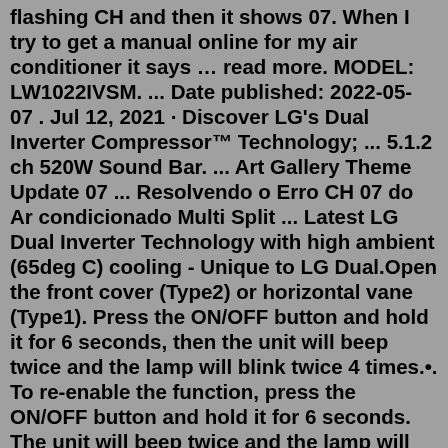flashing CH and then it shows 07. When I try to get a manual online for my air conditioner it says … read more. MODEL: LW1022IVSM. ... Date published: 2022-05- 07 . Jul 12, 2021 · Discover LG's Dual Inverter Compressor™ Technology; ... 5.1.2 ch 520W Sound Bar. ... Art Gallery Theme Update 07 ... Resolvendo o Erro CH 07 do Ar condicionado Multi Split ... Latest LG Dual Inverter Technology with high ambient (65deg C) cooling - Unique to LG Dual.Open the front cover (Type2) or horizontal vane (Type1). Press the ON/OFF button and hold it for 6 seconds, then the unit will beep twice and the lamp will blink twice 4 times.•. To re-enable the function, press the ON/OFF button and hold it for 6 seconds. The unit will beep twice and the lamp will blink 4 times.CH 107 – Fan DC link low voltage fault (Master 11 – 07 071, Slave1 12 – 07 072, Slave2 13 – 07 073, Slave3 14 – 07 074) CH 113 – Outdoor Unit Liquid pipe (condenser) temperature sensor faulty (Master 11- 131 131, Slave1 12 – 132 132, Slave2 13 – 133 133, Slave3 14 – 134 134) LG split system help: fault code